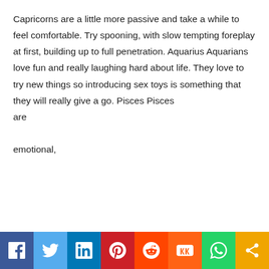Capricorns are a little more passive and take a while to feel comfortable. Try spooning, with slow tempting foreplay at first, building up to full penetration. Aquarius Aquarians love fun and really laughing hard about life. They love to try new things so introducing sex toys is something that they will really give a go. Pisces Pisces are emotional,
[Figure (infographic): Social media sharing bar with icons for Facebook, Twitter, LinkedIn, Pinterest, Reddit, Mix, WhatsApp, and Share]